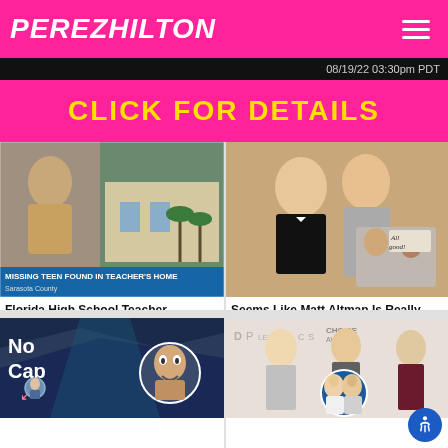PEREZHILTON
08/19/22 03:30pm PDT
CLICK FOR DETAILS
[Figure (photo): News broadcast screenshot: mugshot of a woman on left, school building with palm trees on right. Lower third reads: MISSING TEEN FOUND IN TEACHER'S HOME, Sarasota County]
Florida High School Teacher Arrested & Accused Of Hiding Missing Child In Her Home
[Figure (photo): Man in tuxedo smiling with woman in grey dress; inset photo of couple at protest sign reading All good!]
Seems Like Matt Altman Is Really Trying To Erase This Domestic Violence Incident With His Wife!!
[Figure (photo): Dark horror-film style image with text overlay 'No Cap' and circular inset of elderly person with shocked expression]
Mother Claimed 'Possessed'
[Figure (photo): Women at People's Choice Awards red carpet; circular inset of two women kissing; logos: PEOPLE, CHOICE AWARDS]
Anne Heche Once 'Warned' Portia